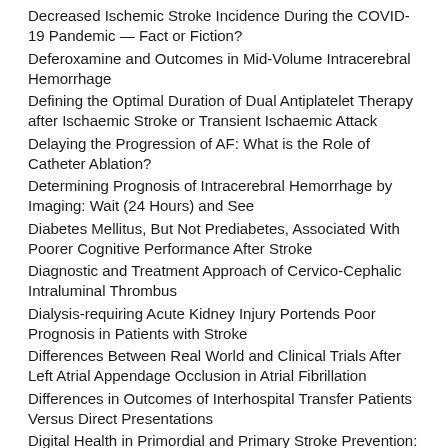Decreased Ischemic Stroke Incidence During the COVID-19 Pandemic — Fact or Fiction?
Deferoxamine and Outcomes in Mid-Volume Intracerebral Hemorrhage
Defining the Optimal Duration of Dual Antiplatelet Therapy after Ischaemic Stroke or Transient Ischaemic Attack
Delaying the Progression of AF: What is the Role of Catheter Ablation?
Determining Prognosis of Intracerebral Hemorrhage by Imaging: Wait (24 Hours) and See
Diabetes Mellitus, But Not Prediabetes, Associated With Poorer Cognitive Performance After Stroke
Diagnostic and Treatment Approach of Cervico-Cephalic Intraluminal Thrombus
Dialysis-requiring Acute Kidney Injury Portends Poor Prognosis in Patients with Stroke
Differences Between Real World and Clinical Trials After Left Atrial Appendage Occlusion in Atrial Fibrillation
Differences in Outcomes of Interhospital Transfer Patients Versus Direct Presentations
Digital Health in Primordial and Primary Stroke Prevention: Feasible Solution During COVID-19 Pandemic?
Direct Oral Anticoagulants Versus Warfarin in Cancer Patients with Atrial Fibrillation
Direct Transfer to Angio-Suite May Improve the Outcome of Large Vessel